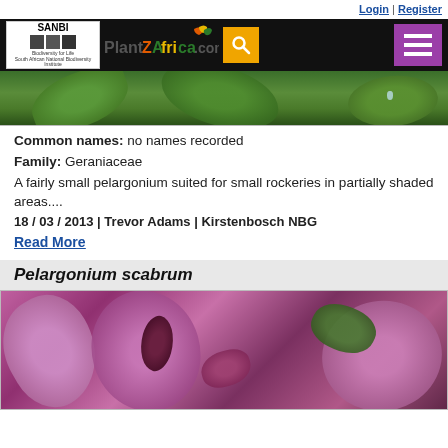Login | Register
[Figure (screenshot): PlantZAfrica website navigation header with SANBI logo, PlantZAfrica.com logo, search button, and hamburger menu]
[Figure (photo): Close-up photo of green plant leaves with water droplets, partially visible at top of content area]
Common names: no names recorded
Family: Geraniaceae
A fairly small pelargonium suited for small rockeries in partially shaded areas....
18 / 03 / 2013 | Trevor Adams | Kirstenbosch NBG
Read More
Pelargonium scabrum
[Figure (photo): Close-up photo of Pelargonium scabrum flowers with pink/purple petals and dark markings]